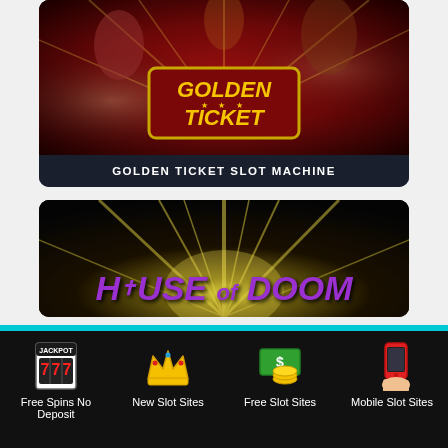[Figure (screenshot): Golden Ticket slot machine game promotional image with red background, carnival characters, and golden 'GOLDEN TICKET' logo badge]
GOLDEN TICKET SLOT MACHINE
[Figure (screenshot): House of Doom slot machine game promotional image with dark background and bright radial light beams behind purple stylized 'House of Doom' logo]
Free Spins No Deposit | New Slot Sites | Free Slot Sites | Mobile Slot Sites